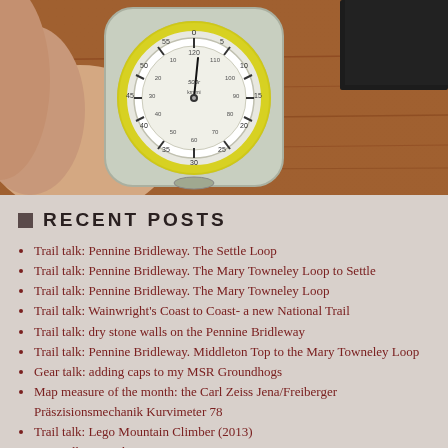[Figure (photo): A hand holding a small round map measure/curvimeter device with a dial face showing numbered scale, placed on a wooden surface with a black notebook visible in the top right corner.]
RECENT POSTS
Trail talk: Pennine Bridleway. The Settle Loop
Trail talk: Pennine Bridleway. The Mary Towneley Loop to Settle
Trail talk: Pennine Bridleway. The Mary Towneley Loop
Trail talk: Wainwright's Coast to Coast- a new National Trail
Trail talk: dry stone walls on the Pennine Bridleway
Trail talk: Pennine Bridleway. Middleton Top to the Mary Towneley Loop
Gear talk: adding caps to my MSR Groundhogs
Map measure of the month: the Carl Zeiss Jena/Freiberger Präszisionsmechanik Kurvimeter 78
Trail talk: Lego Mountain Climber (2013)
Gear talk: peg selection
Trail talk: The first Lego 'Creator' backpacker (2011)
Trail talk: Maps and guidebooks for the Pennine Bridleway